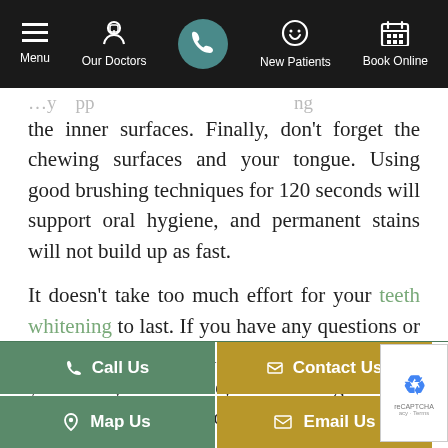Menu | Our Doctors | [Call] | New Patients | Book Online
the inner surfaces. Finally, don't forget the chewing surfaces and your tongue. Using good brushing techniques for 120 seconds will support oral hygiene, and permanent stains will not build up as fast.
It doesn't take too much effort for your teeth whitening to last. If you have any questions or would like additional tips on how to retain your fresh, white smile, call The Sugar House Dentist. We also provide family dentistry. Make an
Call Us | Contact Us | Map Us | Email Us